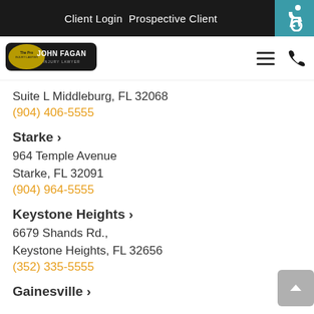Client Login   Prospective Client
[Figure (logo): John Fagan injury lawyer logo]
Suite L Middleburg, FL 32068
(904) 406-5555
Starke >
964 Temple Avenue
Starke, FL 32091
(904) 964-5555
Keystone Heights >
6679 Shands Rd.,
Keystone Heights, FL 32656
(352) 335-5555
Gainesville >